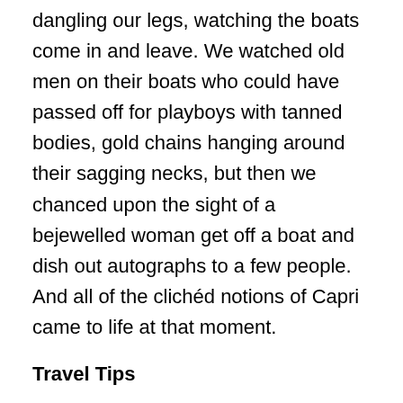dangling our legs, watching the boats come in and leave. We watched old men on their boats who could have passed off for playboys with tanned bodies, gold chains hanging around their sagging necks, but then we chanced upon the sight of a bejewelled woman get off a boat and dish out autographs to a few people. And all of the clichéd notions of Capri came to life at that moment.
Travel Tips
How to Get There: You can reach Capri only by sea. Frequent ferries from Naples and Sorrento bring you to the island. One-way tickets from